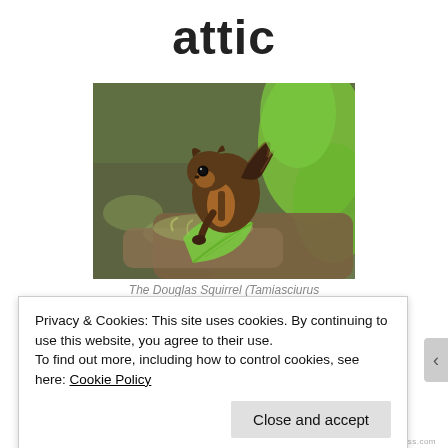attic
[Figure (photo): A Douglas Squirrel (Tamiasciurus) perched on a moss-covered tree branch surrounded by green leaves and foliage.]
The Douglas Squirrel (Tamiasciurus
Privacy & Cookies: This site uses cookies. By continuing to use this website, you agree to their use.
To find out more, including how to control cookies, see here: Cookie Policy
Close and accept